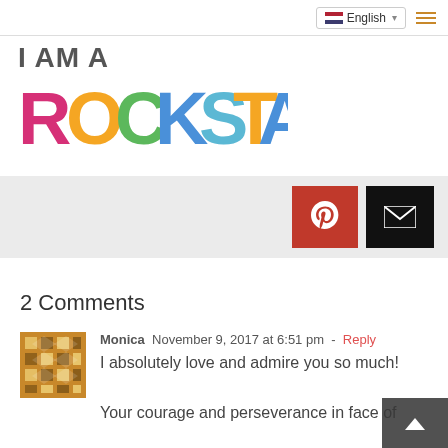English
I AM A ROCKSTAR
[Figure (infographic): Social share buttons: Pinterest (red) and Email (black) on grey background strip]
2 Comments
[Figure (illustration): Gravatar avatar for Monica - gold geometric pattern]
Monica November 9, 2017 at 6:51 pm - Reply
I absolutely love and admire you so much! Your courage and perseverance in face of what seems like insurmountable obstacles has been an inspiration for me...